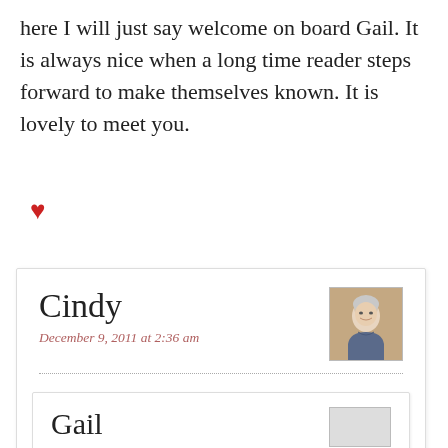here I will just say welcome on board Gail. It is always nice when a long time reader steps forward to make themselves known. It is lovely to meet you.
♥
Cindy
December 9, 2011 at 2:36 am
[Figure (photo): Small portrait photo of a woman with short grey/white hair, smiling]
What a nice comment. Thank you!
♥
Gail